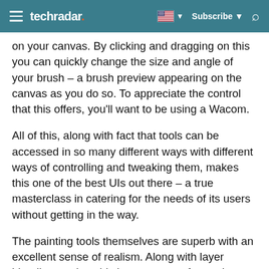techradar | Subscribe
on your canvas. By clicking and dragging on this you can quickly change the size and angle of your brush – a brush preview appearing on the canvas as you do so. To appreciate the control that this offers, you'll want to be using a Wacom.
All of this, along with fact that tools can be accessed in so many different ways with different ways of controlling and tweaking them, makes this one of the best UIs out there – a true masterclass in catering for the needs of its users without getting in the way.
The painting tools themselves are superb with an excellent sense of realism. Along with layer blending modes, this is a great app for getting quick ideas